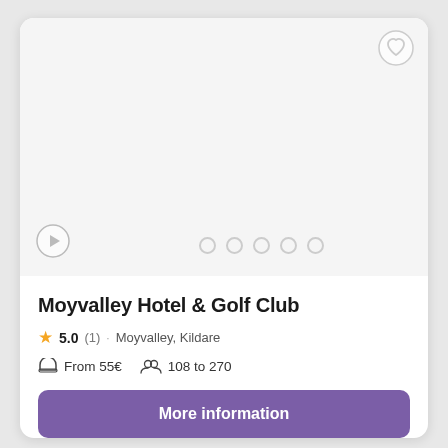[Figure (photo): Hotel image area (white/blank placeholder) with play button icon and pagination dots]
Moyvalley Hotel & Golf Club
5.0 (1) · Moyvalley, Kildare
From 55€  108 to 270
More information